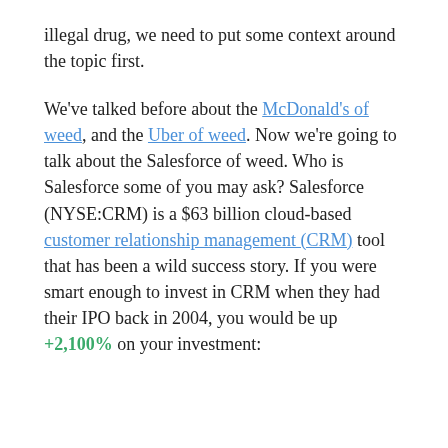illegal drug, we need to put some context around the topic first.
We've talked before about the McDonald's of weed, and the Uber of weed. Now we're going to talk about the Salesforce of weed. Who is Salesforce some of you may ask? Salesforce (NYSE:CRM) is a $63 billion cloud-based customer relationship management (CRM) tool that has been a wild success story. If you were smart enough to invest in CRM when they had their IPO back in 2004, you would be up +2,100% on your investment: